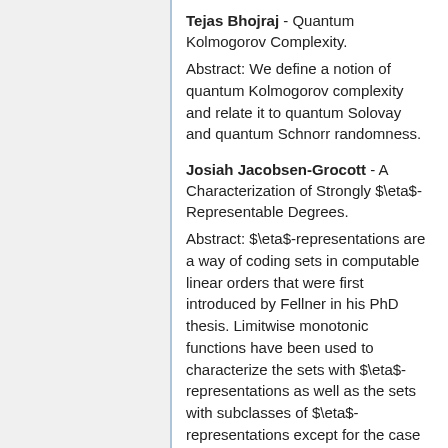Tejas Bhojraj - Quantum Kolmogorov Complexity.
Abstract: We define a notion of quantum Kolmogorov complexity and relate it to quantum Solovay and quantum Schnorr randomness.
Josiah Jacobsen-Grocott - A Characterization of Strongly $\eta$-Representable Degrees.
Abstract: $\eta$-representations are a way of coding sets in computable linear orders that were first introduced by Fellner in his PhD thesis. Limitwise monotonic functions have been used to characterize the sets with $\eta$-representations as well as the sets with subclasses of $\eta$-representations except for the case of sets with strong $\eta$-representations, the only class